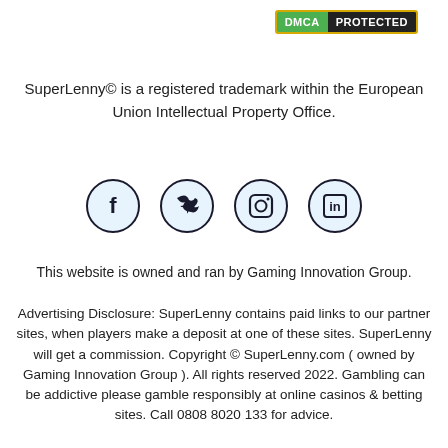[Figure (logo): DMCA Protected badge with green DMCA label and dark PROTECTED label, bordered in gold/yellow]
SuperLenny© is a registered trademark within the European Union Intellectual Property Office.
[Figure (infographic): Four social media icons in circles: Facebook, Twitter, Instagram, LinkedIn]
This website is owned and ran by Gaming Innovation Group.
Advertising Disclosure: SuperLenny contains paid links to our partner sites, when players make a deposit at one of these sites. SuperLenny will get a commission. Copyright © SuperLenny.com ( owned by Gaming Innovation Group ). All rights reserved 2022. Gambling can be addictive please gamble responsibly at online casinos & betting sites. Call 0808 8020 133 for advice.